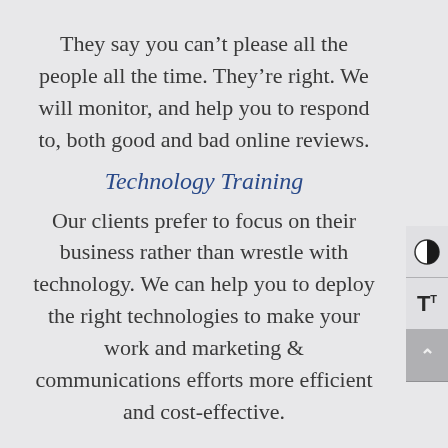They say you can't please all the people all the time. They're right. We will monitor, and help you to respond to, both good and bad online reviews.
Technology Training
Our clients prefer to focus on their business rather than wrestle with technology. We can help you to deploy the right technologies to make your work and marketing & communications efforts more efficient and cost-effective.